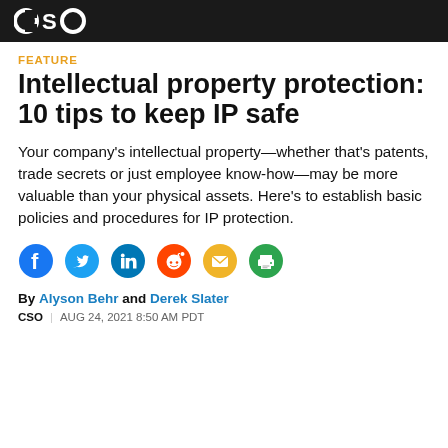CSO (logo)
FEATURE
Intellectual property protection: 10 tips to keep IP safe
Your company's intellectual property—whether that's patents, trade secrets or just employee know-how—may be more valuable than your physical assets. Here's to establish basic policies and procedures for IP protection.
[Figure (other): Social share icons: Facebook, Twitter, LinkedIn, Reddit, Email, Print]
By Alyson Behr and Derek Slater
CSO | AUG 24, 2021 8:50 AM PDT